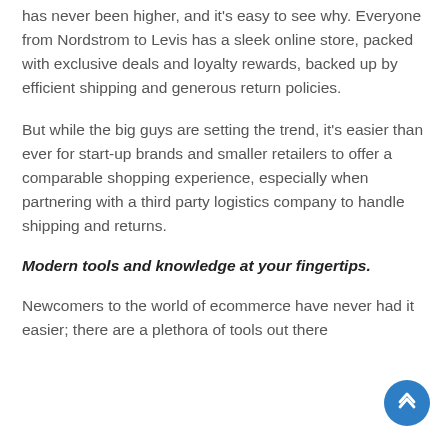has never been higher, and it's easy to see why. Everyone from Nordstrom to Levis has a sleek online store, packed with exclusive deals and loyalty rewards, backed up by efficient shipping and generous return policies.
But while the big guys are setting the trend, it's easier than ever for start-up brands and smaller retailers to offer a comparable shopping experience, especially when partnering with a third party logistics company to handle shipping and returns.
Modern tools and knowledge at your fingertips.
Newcomers to the world of ecommerce have never had it easier; there are a plethora of tools out there